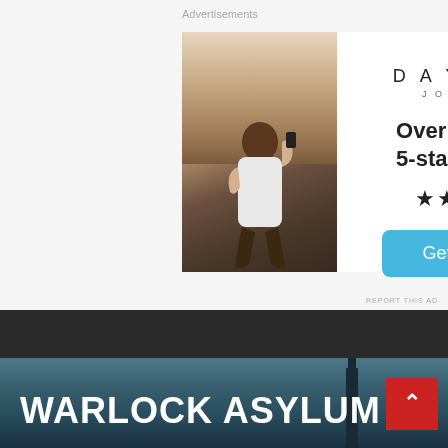Advertisements
[Figure (photo): Person sitting on rock photographing sunset with smartphone]
[Figure (infographic): DayOne Journal app advertisement with icon, text 'Over 150,000 5-star reviews', five stars, and Get the app button]
REPORT THIS AD
[Figure (photo): Dark teal/blue cityscape hero image with tower silhouette]
WARLOCK ASYLUM